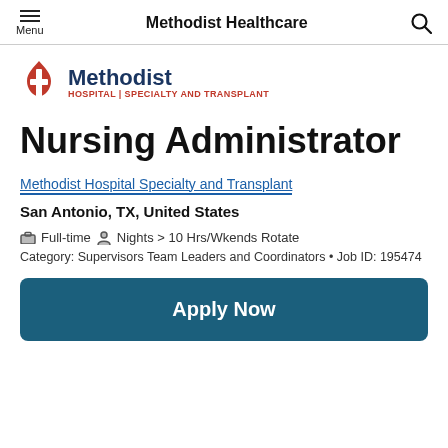Methodist Healthcare
[Figure (logo): Methodist Hospital Specialty and Transplant logo with flame/cross icon]
Nursing Administrator
Methodist Hospital Specialty and Transplant
San Antonio, TX, United States
Full-time  Nights > 10 Hrs/Wkends Rotate
Category: Supervisors Team Leaders and Coordinators • Job ID: 195474
Apply Now